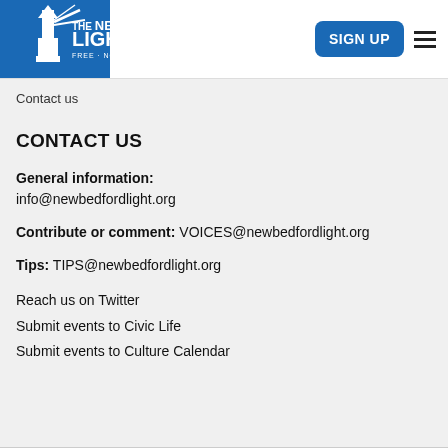THE NEW BEDFORD LIGHT — FREE · NONPROFIT · NEWS — SIGN UP
Contact us
CONTACT US
General information:
info@newbedfordlight.org
Contribute or comment: VOICES@newbedfordlight.org
Tips: TIPS@newbedfordlight.org
Reach us on Twitter
Submit events to Civic Life
Submit events to Culture Calendar